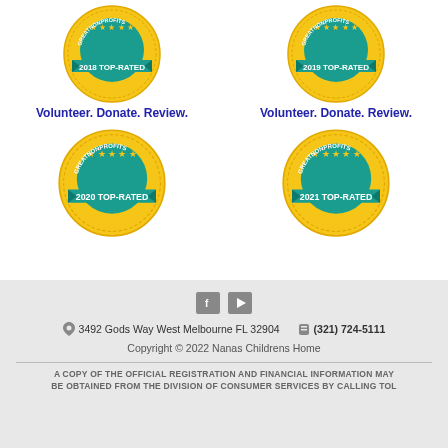[Figure (logo): GreatNonprofits 2018 Top-Rated Nonprofit badge - gold circular seal with teal banner]
[Figure (logo): GreatNonprofits 2019 Top-Rated Nonprofit badge - gold circular seal with teal banner]
Volunteer. Donate. Review.
Volunteer. Donate. Review.
[Figure (logo): GreatNonprofits 2020 Top-Rated Nonprofit badge - gold circular seal with teal banner]
[Figure (logo): GreatNonprofits 2021 Top-Rated Nonprofit badge - gold circular seal with teal banner]
3492 Gods Way West Melbourne FL 32904   (321) 724-5111
Copyright © 2022 Nanas Childrens Home
A COPY OF THE OFFICIAL REGISTRATION AND FINANCIAL INFORMATION MAY BE OBTAINED FROM THE DIVISION OF CONSUMER SERVICES BY CALLING TOLL